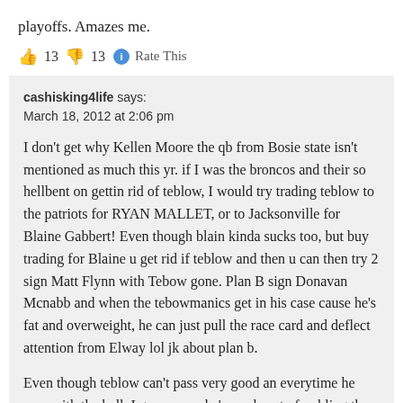playoffs. Amazes me.
👍 13 👎 13 ℹ Rate This
cashisking4life says:
March 18, 2012 at 2:06 pm
I don't get why Kellen Moore the qb from Bosie state isn't mentioned as much this yr. if I was the broncos and their so hellbent on gettin rid of teblow, I would try trading teblow to the patriots for RYAN MALLET, or to Jacksonville for Blaine Gabbert! Even though blain kinda sucks too, but buy trading for Blaine u get rid if teblow and then u can then try 2 sign Matt Flynn with Tebow gone. Plan B sign Donavan Mcnabb and when the tebowmanics get in his case cause he's fat and overweight, he can just pull the race card and deflect attention from Elway lol jk about plan b.
Even though teblow can't pass very good an everytime he runs with the ball, I gasp cause he's so close to fumbling the ball all